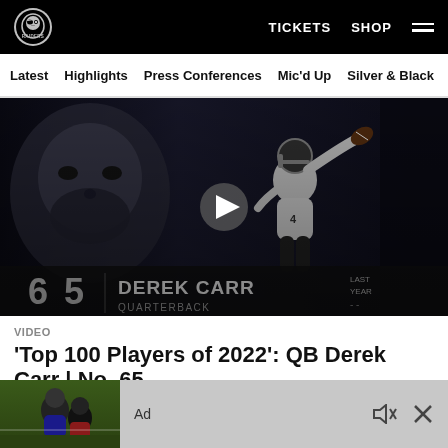Raiders | TICKETS  SHOP  ☰
Latest  Highlights  Press Conferences  Mic'd Up  Silver & Black
[Figure (screenshot): Video thumbnail showing Derek Carr (#65) quarterback in Raiders uniform throwing a football, with grayscale NFL Top 100 graphic overlay. Text on screen: '6 5 DEREK CARR QUARTERBACK LAST YEAR --'. Play button in center.]
VIDEO
'Top 100 Players of 2022': QB Derek Carr | No. 65
[Figure (photo): Ad bar at bottom: Raiders player photo on left, 'Ad' text in center, mute and close icons on right.]